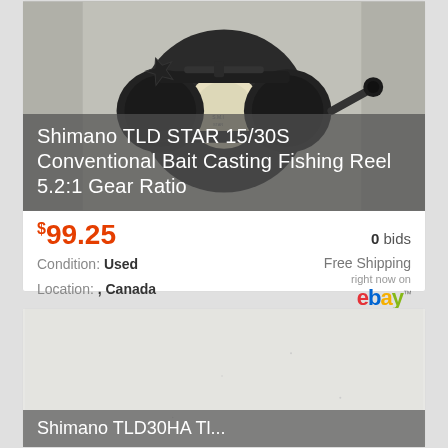[Figure (photo): Photo of a Shimano TLD STAR 15/30S conventional bait casting fishing reel, dark colored, on a light gray background.]
Shimano TLD STAR 15/30S Conventional Bait Casting Fishing Reel 5.2:1 Gear Ratio
$99.25  0 bids
Condition: Used
Location: , Canada
Free Shipping right now on eBay
[Figure (photo): Second product listing image, mostly white/blank with faint light marks, partially loaded or blank product photo area. Partially visible title overlay at bottom reading 'Shimano TLD30HA Tl...']